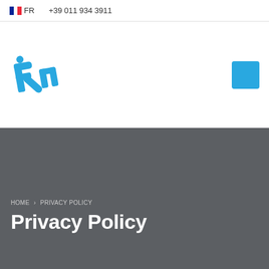FR  +39 011 934 3911
[Figure (logo): Blue stylized 'Rm' logo in the top-left of the header area]
[Figure (other): Blue square hamburger menu button in top-right of header]
HOME › PRIVACY POLICY
Privacy Policy